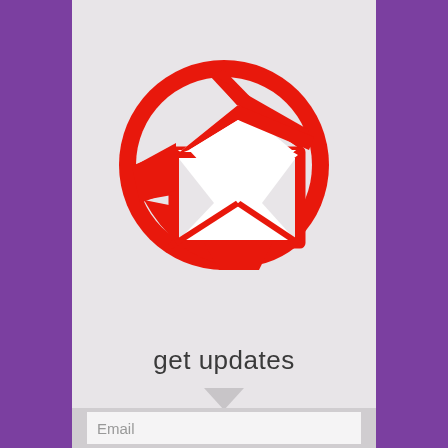[Figure (logo): Red email/envelope icon inside a red circle on a light gray background. The envelope has geometric triangular flap shapes in red and white.]
get updates
[Figure (other): Downward pointing gray arrow/chevron shape]
Email